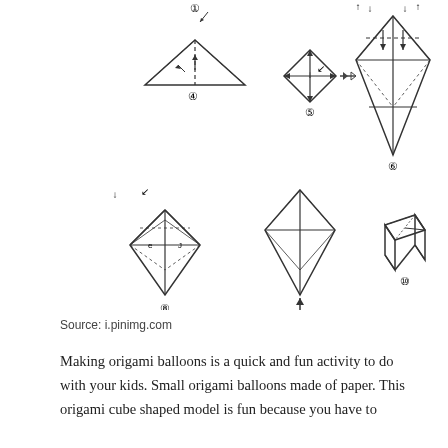[Figure (illustration): Step-by-step origami balloon folding instructions showing 9 numbered steps with diagrams of paper folding techniques including triangles, diamonds, and the final cube shape, with arrows indicating fold directions and a blow icon for the inflating step.]
Source: i.pinimg.com
Making origami balloons is a quick and fun activity to do with your kids. Small origami balloons made of paper. This origami cube shaped model is fun because you have to